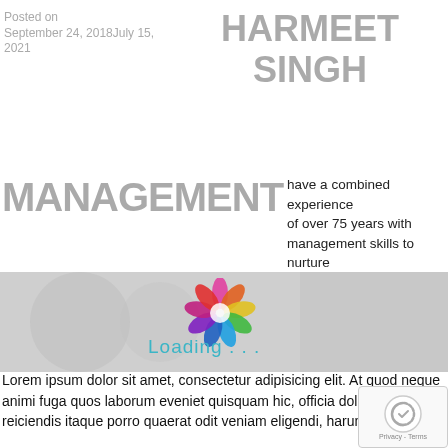Posted on September 24, 2018July 15, 2021
HARMEET SINGH
MANAGEMENT
have a combined experience of over 75 years with management skills to nurture and grow ideas into profitable enterprises.
[Figure (logo): Colorful swirl logo with Loading... text overlay]
Lorem ipsum dolor sit amet, consectetur adipisicing elit. At quod neque animi fuga quos laborum eveniet quisquam hic, officia dolorum autem reiciendis itaque porro quaerat odit veniam eligendi, harum facilis.
Lorem ipsum dolor sit amet, consectetur adipisicing elit. At quod neque animi fuga quos laborum eveniet quisquam hic, officia dolorum autem reiciendis itaque porro quaerat odit veniam eligendi, harum facilis.
Lorem ipsum dolor sit amet, consectetur adipisicing elit. At quod